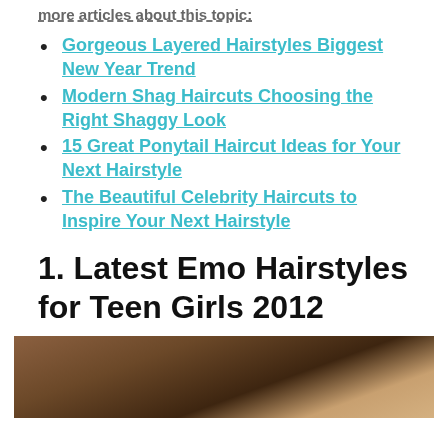more articles about this topic:
Gorgeous Layered Hairstyles Biggest New Year Trend
Modern Shag Haircuts Choosing the Right Shaggy Look
15 Great Ponytail Haircut Ideas for Your Next Hairstyle
The Beautiful Celebrity Haircuts to Inspire Your Next Hairstyle
1. Latest Emo Hairstyles for Teen Girls 2012
[Figure (photo): Photo of a person's hair, cropped showing top of head with dark hair styling]